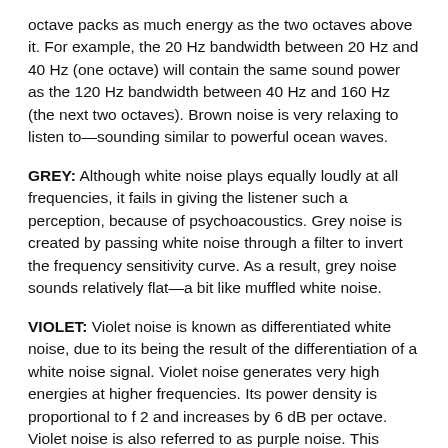octave packs as much energy as the two octaves above it. For example, the 20 Hz bandwidth between 20 Hz and 40 Hz (one octave) will contain the same sound power as the 120 Hz bandwidth between 40 Hz and 160 Hz (the next two octaves). Brown noise is very relaxing to listen to—sounding similar to powerful ocean waves.
GREY: Although white noise plays equally loudly at all frequencies, it fails in giving the listener such a perception, because of psychoacoustics. Grey noise is created by passing white noise through a filter to invert the frequency sensitivity curve. As a result, grey noise sounds relatively flat—a bit like muffled white noise.
VIOLET: Violet noise is known as differentiated white noise, due to its being the result of the differentiation of a white noise signal. Violet noise generates very high energies at higher frequencies. Its power density is proportional to f 2 and increases by 6 dB per octave. Violet noise is also referred to as purple noise. This noise is sharp and not very soothing to listen to unless the volume is very low.
BLUE: Blue noise is...